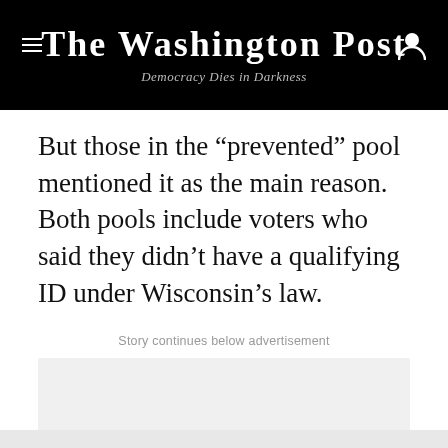The Washington Post — Democracy Dies in Darkness
But those in the “prevented” pool mentioned it as the main reason. Both pools include voters who said they didn’t have a qualifying ID under Wisconsin’s law.
Story continues below advertisement